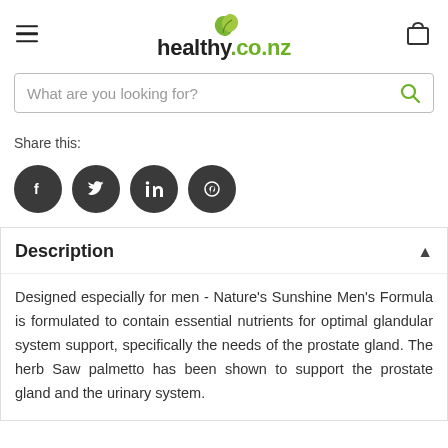healthy.co.nz
What are you looking for?
Share this:
[Figure (other): Four social media icon buttons: Facebook, Twitter, LinkedIn, Pinterest — dark circular icons]
Description
Designed especially for men - Nature's Sunshine Men's Formula is formulated to contain essential nutrients for optimal glandular system support, specifically the needs of the prostate gland. The herb Saw palmetto has been shown to support the prostate gland and the urinary system.